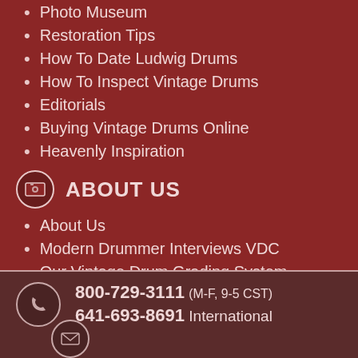Photo Museum
Restoration Tips
How To Date Ludwig Drums
How To Inspect Vintage Drums
Editorials
Buying Vintage Drums Online
Heavenly Inspiration
ABOUT US
About Us
Modern Drummer Interviews VDC
Our Vintage Drum Grading System
Customer Testimonials
800-729-3111 (M-F, 9-5 CST) 641-693-8691 International